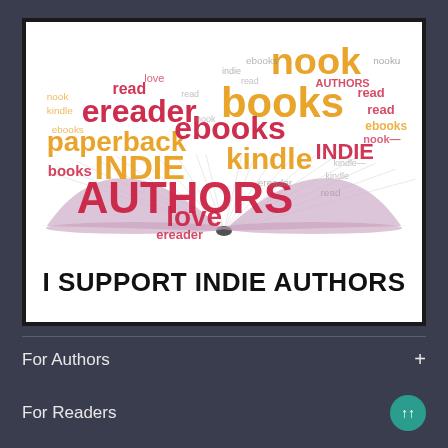[Figure (illustration): An open book with pages fanning out, overlaid with a heart-shaped word cloud containing publishing-related words (nook, books, ereader, paperback, ebooks, INDIE, AUTHORS, kindle, read, love, etc.) in various colors (red, orange, gold). Below the word cloud is bold text reading 'I SUPPORT INDIE AUTHORS' on a white background. The whole image is bordered with a dark frame.]
For Authors   +
For Readers